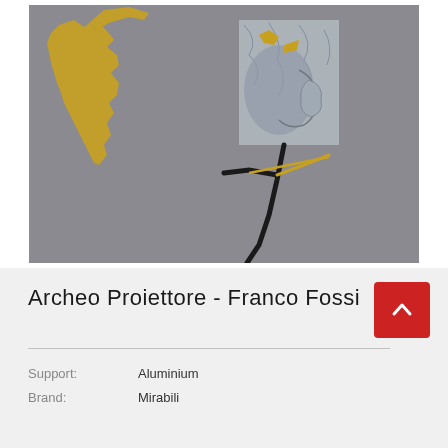[Figure (photo): Sculpture artwork photo: a metallic sculpture featuring a silver aluminium face/head panel mounted on a dark stem/rod, with a gold leaf-shaped piece extending to the left resembling a coastline or map silhouette, against a grey background.]
Archeo Proiettore - Franco Fossi
Support: Aluminium
Brand: Mirabili